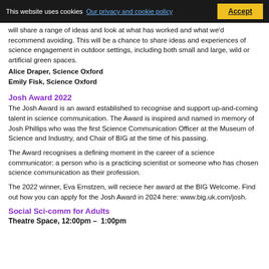This website uses cookies  Our privacy and cookie policy  Accept
will share a range of ideas and look at what has worked and what we'd recommend avoiding. This will be a chance to share ideas and experiences of science engagement in outdoor settings, including both small and large, wild or artificial green spaces.
Alice Draper, Science Oxford
Emily Fisk, Science Oxford
Josh Award 2022
The Josh Award is an award established to recognise and support up-and-coming talent in science communication. The Award is inspired and named in memory of Josh Phillips who was the first Science Communication Officer at the Museum of Science and Industry, and Chair of BIG at the time of his passing.
The Award recognises a defining moment in the career of a science communicator; a person who is a practicing scientist or someone who has chosen science communication as their profession.
The 2022 winner, Eva Ernstzen, will reciece her award at the BIG Welcome. Find out how you can apply for the Josh Award in 2024 here: www.big.uk.com/josh.
Social Sci-comm for Adults
Theatre Space, 12:00pm – 1:00pm